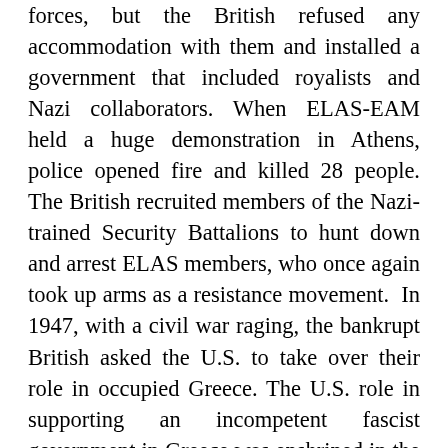forces, but the British refused any accommodation with them and installed a government that included royalists and Nazi collaborators. When ELAS-EAM held a huge demonstration in Athens, police opened fire and killed 28 people. The British recruited members of the Nazi-trained Security Battalions to hunt down and arrest ELAS members, who once again took up arms as a resistance movement.  In 1947, with a civil war raging, the bankrupt British asked the U.S. to take over their role in occupied Greece. The U.S. role in supporting an incompetent fascist government in Greece was enshrined in the “Truman Doctrine,”  seen by many historians as the beginning of the Cold War. ELAS-EAM fighters laid down their arms in 1949 after Yugoslavia withdrew its support, and 100,000 were either executed, exiled or jailed. The liberal Prime Minister Georgios Papandreou was overthrown in a CIA-backed coup in 1967, leading to seven more years of